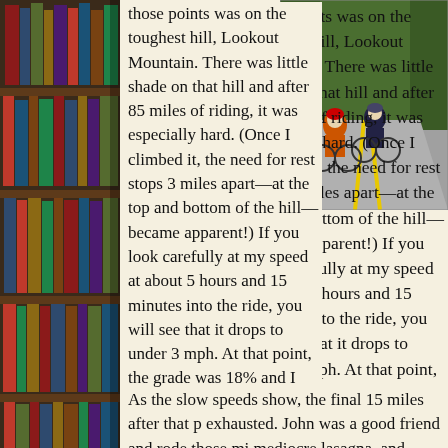[Figure (photo): Bookshelf with colorful book spines visible on the left side of the page]
[Figure (photo): Two cyclists riding road bikes on a paved road, wearing cycling gear, surrounded by trees]
those points was on the toughest hill, Lookout Mountain. There was little shade on that hill and after 85 miles of riding, it was especially hard. (Once I climbed it, the need for rest stops 3 miles apart—at the top and bottom of the hill—became apparent!) If you look carefully at my speed at about 5 hours and 15 minutes into the ride, you will see that it drops to under 3 mph. At that point, the grade was 18% and I could no longer pedal. I had to get off and walk for the final .3 miles of the hill. Lots of folk fall down and saw them lying on the ground. Apparently person tipped over.
As the slow speeds show, the final 15 miles after that p exhausted. John was a good friend and rode those mi mediocre lasagna, and drove 7.5 hours home. I arrived